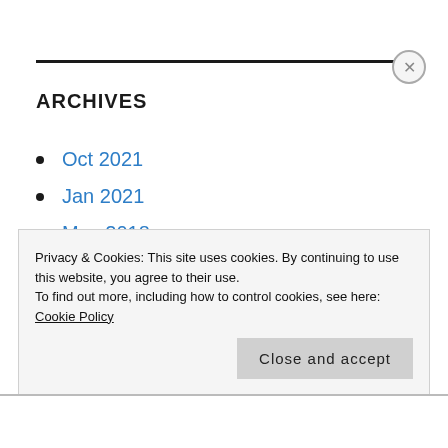ARCHIVES
Oct 2021
Jan 2021
May 2018
Feb 2018
Oct 2017
Aug 2017
Privacy & Cookies: This site uses cookies. By continuing to use this website, you agree to their use.
To find out more, including how to control cookies, see here: Cookie Policy